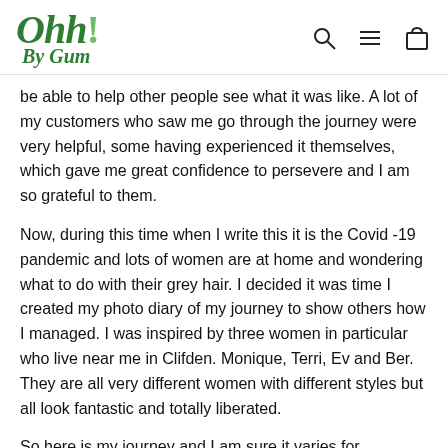Ohh! By Gum [logo with search, menu, and cart icons]
be able to help other people see what it was like. A lot of my customers who saw me go through the journey were very helpful, some having experienced it themselves, which gave me great confidence to persevere and I am so grateful to them.
Now, during this time when I write this it is the Covid -19 pandemic and lots of women are at home and wondering what to do with their grey hair. I decided it was time I created my photo diary of my journey to show others how I managed. I was inspired by three women in particular who live near me in Clifden. Monique, Terri, Ev and Ber. They are all very different women with different styles but all look fantastic and totally liberated.
So here is my journey and I am sure it varies for everybody